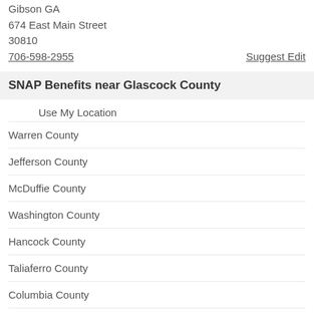Gibson GA
674 East Main Street
30810
706-598-2955
Suggest Edit
SNAP Benefits near Glascock County
Use My Location
Warren County
Jefferson County
McDuffie County
Washington County
Hancock County
Taliaferro County
Columbia County